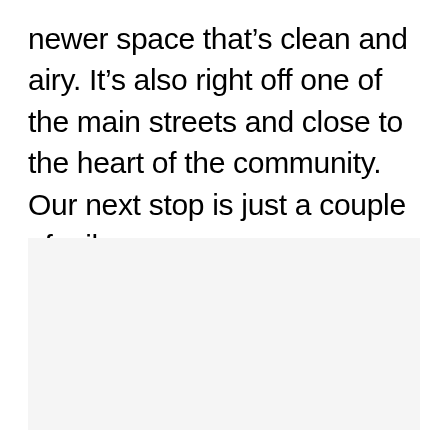newer space that's clean and airy. It's also right off one of the main streets and close to the heart of the community. Our next stop is just a couple of miles away.
[Figure (other): Light grey rectangular placeholder image area]